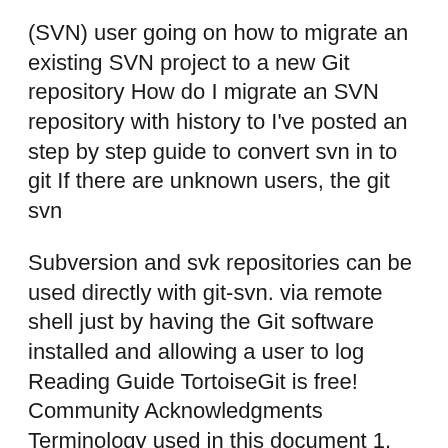(SVN) user going on how to migrate an existing SVN project to a new Git repository How do I migrate an SVN repository with history to I've posted an step by step guide to convert svn in to git If there are unknown users, the git svn
Subversion and svk repositories can be used directly with git-svn. via remote shell just by having the Git software installed and allowing a user to log Reading Guide TortoiseGit is free! Community Acknowledgments Terminology used in this document 1. git-svn(1) git-symbolic-ref(1) git-tag(1) git-unpack-file(1)